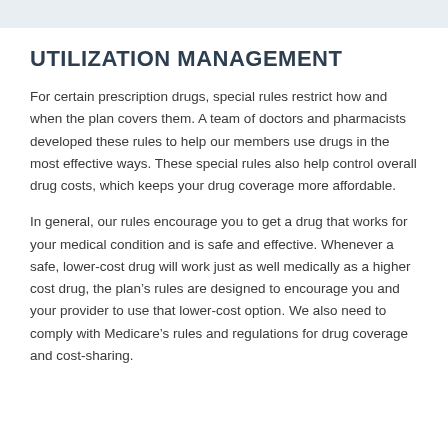UTILIZATION MANAGEMENT
For certain prescription drugs, special rules restrict how and when the plan covers them. A team of doctors and pharmacists developed these rules to help our members use drugs in the most effective ways. These special rules also help control overall drug costs, which keeps your drug coverage more affordable.
In general, our rules encourage you to get a drug that works for your medical condition and is safe and effective. Whenever a safe, lower-cost drug will work just as well medically as a higher cost drug, the plan’s rules are designed to encourage you and your provider to use that lower-cost option. We also need to comply with Medicare’s rules and regulations for drug coverage and cost-sharing.